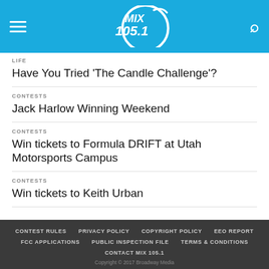MIX 105.1
LIFE
Have You Tried ‘The Candle Challenge’?
CONTESTS
Jack Harlow Winning Weekend
CONTESTS
Win tickets to Formula DRIFT at Utah Motorsports Campus
CONTESTS
Win tickets to Keith Urban
CONTEST RULES   PRIVACY POLICY   COPYRIGHT POLICY   EEO REPORT   FCC APPLICATIONS   PUBLIC INSPECTION FILE   TERMS & CONDITIONS   CONTACT MIX 105.1   Copyright © 2017 Broadway Media